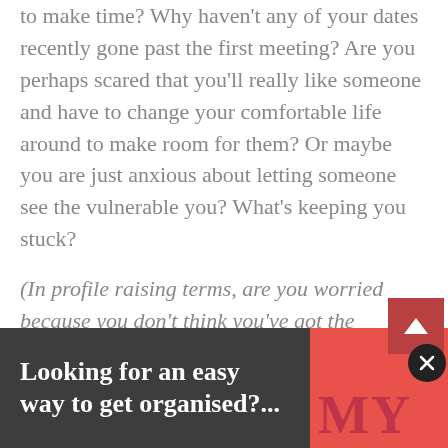to make time? Why haven't any of your dates recently gone past the first meeting? Are you perhaps scared that you'll really like someone and have to change your comfortable life around to make room for them? Or maybe you are just anxious about letting someone see the vulnerable you? What's keeping you stuck?
(In profile raising terms, are you worried because you don't think you've got the knowledge or experience people expect, or perhaps you're concerned you're going to get too many enquiries and end up overwhelmed. Paula.)
Looking for an easy way to get organised?...